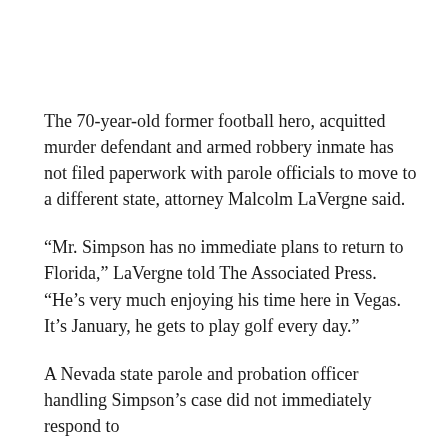The 70-year-old former football hero, acquitted murder defendant and armed robbery inmate has not filed paperwork with parole officials to move to a different state, attorney Malcolm LaVergne said.
“Mr. Simpson has no immediate plans to return to Florida,” LaVergne told The Associated Press. “He’s very much enjoying his time here in Vegas. It’s January, he gets to play golf every day.”
A Nevada state parole and probation officer handling Simpson’s case did not immediately respond to